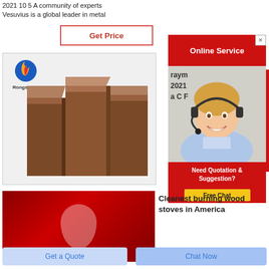2021 10 5 A community of experts
Vesuvius is a global leader in metal
Get Price
[Figure (photo): Rongsheng logo with three brown refractory brick blocks on white background]
[Figure (screenshot): Online Service banner in red with female agent wearing headset, Need Quotation & Suggestion section, and Free Chat yellow button]
raym
2021
a C F
[Figure (photo): Red background with translucent shield or teardrop shape]
Cleanest burning wood stoves in America
Get a Quote
Chat Now